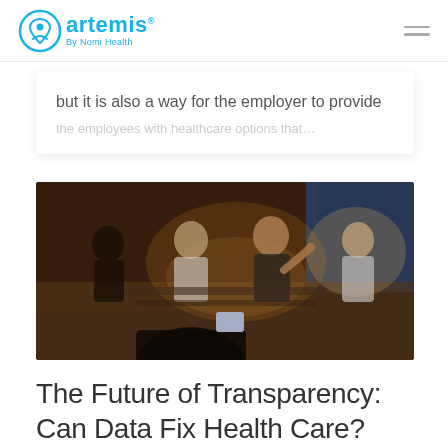artemis By Nomi Health
but it is also a way for the employer to provide
[Figure (photo): Blurred photo of a panel discussion with four people seated on a stage, one person gesturing while speaking. An audience member in the foreground is holding up a smartphone.]
The Future of Transparency: Can Data Fix Health Care? [Part 1]